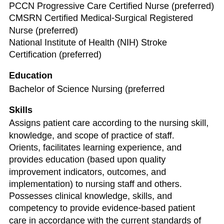PCCN Progressive Care Certified Nurse (preferred)
CMSRN Certified Medical-Surgical Registered Nurse (preferred)
National Institute of Health (NIH) Stroke Certification (preferred)
Education
Bachelor of Science Nursing (preferred
Skills
Assigns patient care according to the nursing skill, knowledge, and scope of practice of staff.
Orients, facilitates learning experience, and provides education (based upon quality improvement indicators, outcomes, and implementation) to nursing staff and others.
Possesses clinical knowledge, skills, and competency to provide evidence-based patient care in accordance with the current standards of practice, policy and procedure,